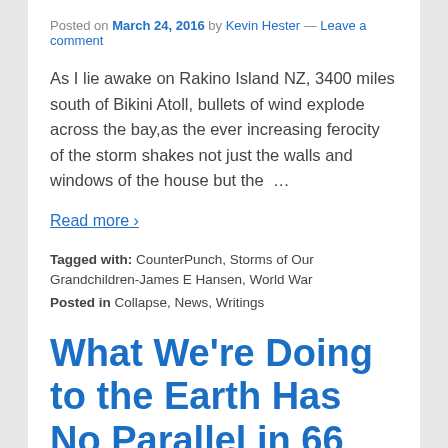Posted on March 24, 2016 by Kevin Hester — Leave a comment
As I lie awake on Rakino Island NZ, 3400 miles south of Bikini Atoll, bullets of wind explode across the bay,as the ever increasing ferocity of the storm shakes not just the walls and windows of the house but the …
Read more ›
Tagged with: CounterPunch, Storms of Our Grandchildren-James E Hansen, World War
Posted in Collapse, News, Writings
What We're Doing to the Earth Has No Parallel in 66 Million Years